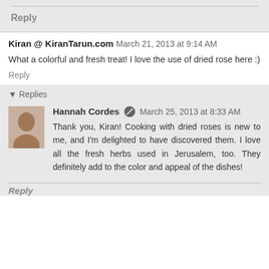big part of their appeal. I appreciate you stopping by - happy spring to you!
Reply
Kiran @ KiranTarun.com  March 21, 2013 at 9:14 AM
What a colorful and fresh treat! I love the use of dried rose here :)
Reply
Replies
Hannah Cordes  March 25, 2013 at 8:33 AM
Thank you, Kiran! Cooking with dried roses is new to me, and I'm delighted to have discovered them. I love all the fresh herbs used in Jerusalem, too. They definitely add to the color and appeal of the dishes!
Reply